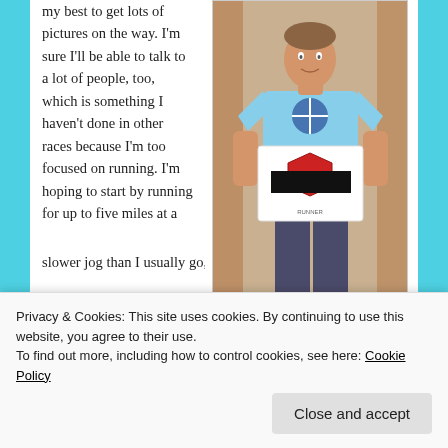my best to get lots of pictures on the way. I'm sure I'll be able to talk to a lot of people, too, which is something I haven't done in other races because I'm too focused on running. I'm hoping to start by running for up to five miles at a slower jog than I usually go, then switching to
[Figure (photo): A person wearing a light blue marathon t-shirt holding a race bib with a shield logo. They are wearing dark jeans. The bib number is redacted/blacked out.]
I have my bib!
Privacy & Cookies: This site uses cookies. By continuing to use this website, you agree to their use.
To find out more, including how to control cookies, see here: Cookie Policy